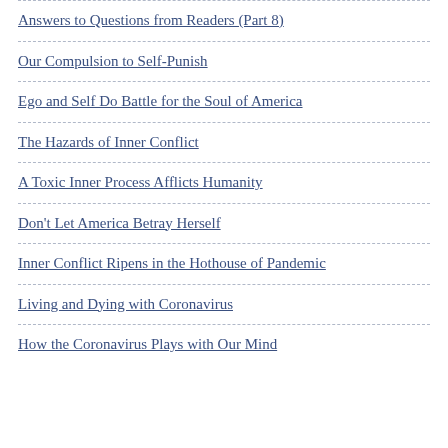Answers to Questions from Readers (Part 8)
Our Compulsion to Self-Punish
Ego and Self Do Battle for the Soul of America
The Hazards of Inner Conflict
A Toxic Inner Process Afflicts Humanity
Don't Let America Betray Herself
Inner Conflict Ripens in the Hothouse of Pandemic
Living and Dying with Coronavirus
How the Coronavirus Plays with Our Mind